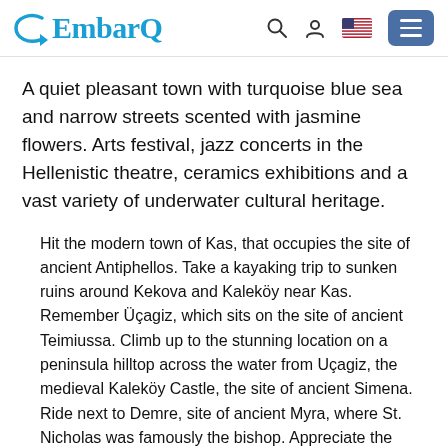EmbarQ [navigation header with logo, search, user, flag, and menu icons]
A quiet pleasant town with turquoise blue sea and narrow streets scented with jasmine flowers. Arts festival, jazz concerts in the Hellenistic theatre, ceramics exhibitions and a vast variety of underwater cultural heritage.
Hit the modern town of Kas, that occupies the site of ancient Antiphellos. Take a kayaking trip to sunken ruins around Kekova and Kaleköy near Kas. Remember Üçagiz, which sits on the site of ancient Teimiussa. Climb up to the stunning location on a peninsula hilltop across the water from Uçagiz, the medieval Kaleköy Castle, the site of ancient Simena. Ride next to Demre, site of ancient Myra, where St. Nicholas was famously the bishop. Appreciate the medieval domed Basilica of St. Nicholas, an important pilgrimage destination for those of the Orthodox Christian